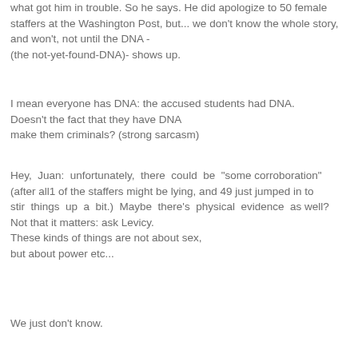what got him in trouble. So he says. He did apologize to 50 female staffers at the Washington Post, but... we don't know the whole story, and won't, not until the DNA - (the not-yet-found-DNA)- shows up.
I mean everyone has DNA: the accused students had DNA. Doesn't the fact that they have DNA make them criminals? (strong sarcasm)
Hey, Juan: unfortunately, there could be "some corroboration" (after all1 of the staffers might be lying, and 49 just jumped in to stir things up a bit.) Maybe there's physical evidence as well? Not that it matters: ask Levicy. These kinds of things are not about sex, but about power etc...
We just don't know.